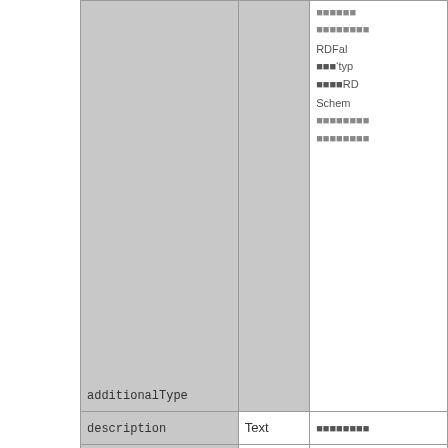| Property | Type | Description |
| --- | --- | --- |
| additionalType |  | RDFa… ‘typ… …RD… Schem… … … |
| description | Text | … |
| image | URL | …URL… |
| name | Text | … |
| url | URL | …URL… |
| MedicalEntity 属性 (section header) |  |  |
| alternateName | Text | … |
| code | MedicalCode | … Disease… MeSH… SNOM… |